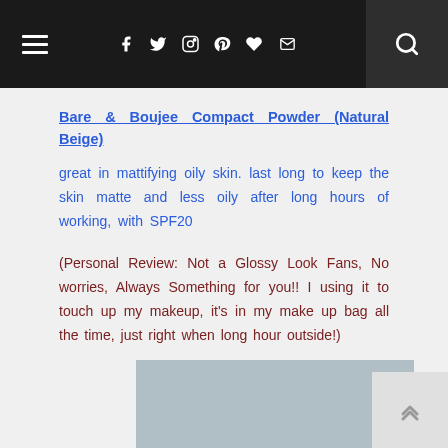Navigation bar with hamburger menu, social icons (Facebook, Twitter, Instagram, Pinterest, heart, mail), and search icon
Bare & Boujee Compact Powder (Natural Beige)
great in mattifying oily skin. last long to keep the skin matte and less oily after long hours of working, with SPF20
(Personal Review: Not a Glossy Look Fans, No worries, Always Something for you!! I using it to touch up my makeup, it's in my make up bag all the time, just right when long hour outside!)
[Figure (photo): Partial image of a product, shown at the bottom of the page, with a scroll-to-top button in the lower right corner]